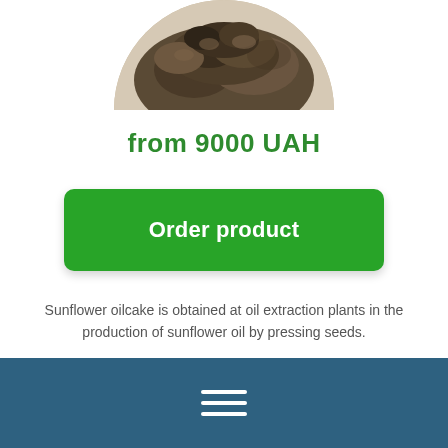[Figure (photo): Circular cropped photo (top half circle) of sunflower oilcake/pressed seed mass, dark brown rocky texture on beige background]
from 9000 UAH
Order product
Sunflower oilcake is obtained at oil extraction plants in the production of sunflower oil by pressing seeds.
[Figure (other): Dark teal footer bar with three white horizontal hamburger menu lines]